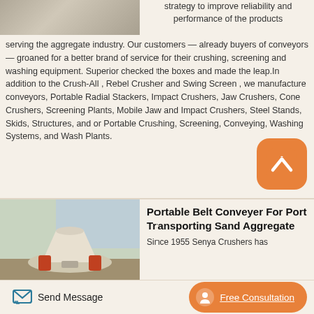[Figure (photo): Photo of industrial equipment (conveyor or machinery) in light gray/white color]
strategy to improve reliability and performance of the products serving the aggregate industry. Our customers — already buyers of conveyors — groaned for a better brand of service for their crushing, screening and washing equipment. Superior checked the boxes and made the leap.In addition to the Crush-All , Rebel Crusher and Swing Screen , we manufacture conveyors, Portable Radial Stackers, Impact Crushers, Jaw Crushers, Cone Crushers, Screening Plants, Mobile Jaw and Impact Crushers, Steel Stands, Skids, Structures, and or Portable Crushing, Screening, Conveying, Washing Systems, and Wash Plants.
[Figure (logo): Orange rounded square icon with white upward-pointing chevron/arrow symbol]
[Figure (photo): Photo of a cone crusher machine with white and orange body in a warehouse setting]
Portable Belt Conveyer For Port Transporting Sand Aggregate
Since 1955 Senya Crushers has
Send Message
Free Consultation